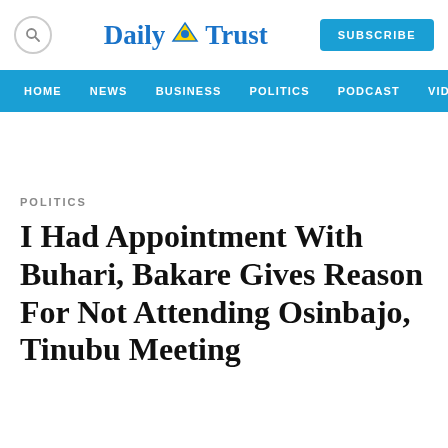[Figure (logo): Daily Trust newspaper logo with search icon and subscribe button]
HOME  NEWS  BUSINESS  POLITICS  PODCAST  VIDEO
POLITICS
I Had Appointment With Buhari, Bakare Gives Reason For Not Attending Osinbajo, Tinubu Meeting